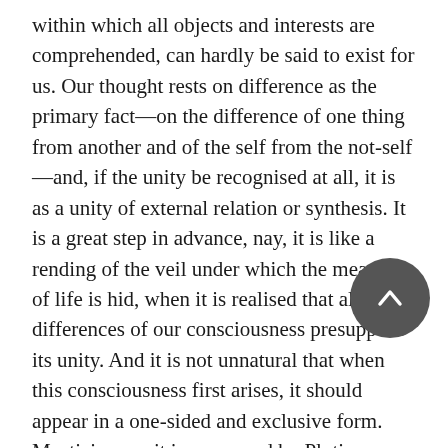within which all objects and interests are comprehended, can hardly be said to exist for us. Our thought rests on difference as the primary fact—on the difference of one thing from another and of the self from the not-self—and, if the unity be recognised at all, it is as a unity of external relation or synthesis. It is a great step in advance, nay, it is like a rending of the veil under which the meaning of life is hid, when it is realised that all the differences of our consciousness presuppose its unity. And it is not unnatural that when this consciousness first arises, it should appear in a one-sided and exclusive form. Mysticism, as it is expressed by Plotinus, represents the first overpowering realisation of this idea, in which no place, or at least no logical place, is left for any other thought. We can, therefore, understand how it is that he dwells so much upon the conception that the One is always with us and within us, though we seldom realise its nearness. But, just because we do not